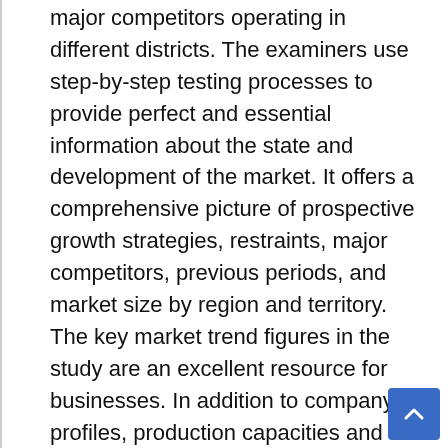major competitors operating in different districts. The examiners use step-by-step testing processes to provide perfect and essential information about the state and development of the market. It offers a comprehensive picture of prospective growth strategies, restraints, major competitors, previous periods, and market size by region and territory. The key market trend figures in the study are an excellent resource for businesses. In addition to company profiles, production capacities and costs along with value and product information, this Interactive Multimedia Platforms (IMP) market study includes other important criteria. It also examines the market share of each organization over the predicted period.
This illustrative report on Interactive Multimedia Platform (IMP) Market also talks about the data updating technologies introduced in the market to